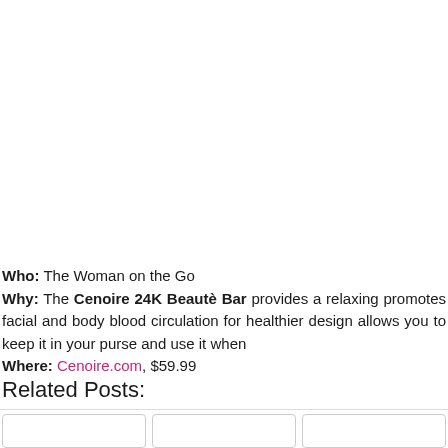Who: The Woman on the Go
Why: The Cenoire 24K Beautè Bar provides a relaxing promotes facial and body blood circulation for healthier design allows you to keep it in your purse and use it when
Where: Cenoire.com, $59.99
Related Posts: